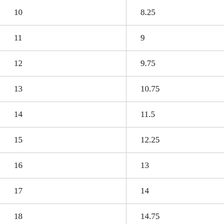| 10 | 8.25 |
| 11 | 9 |
| 12 | 9.75 |
| 13 | 10.75 |
| 14 | 11.5 |
| 15 | 12.25 |
| 16 | 13 |
| 17 | 14 |
| 18 | 14.75 |